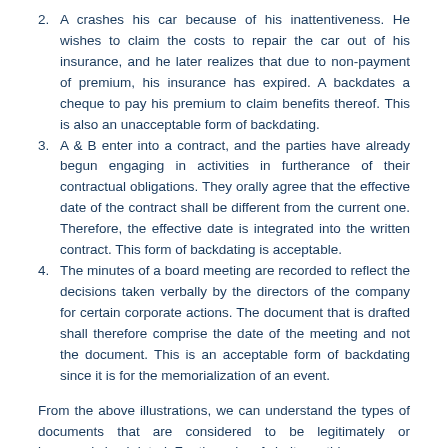2. A crashes his car because of his inattentiveness. He wishes to claim the costs to repair the car out of his insurance, and he later realizes that due to non-payment of premium, his insurance has expired. A backdates a cheque to pay his premium to claim benefits thereof. This is also an unacceptable form of backdating.
3. A & B enter into a contract, and the parties have already begun engaging in activities in furtherance of their contractual obligations. They orally agree that the effective date of the contract shall be different from the current one. Therefore, the effective date is integrated into the written contract. This form of backdating is acceptable.
4. The minutes of a board meeting are recorded to reflect the decisions taken verbally by the directors of the company for certain corporate actions. The document that is drafted shall therefore comprise the date of the meeting and not the document. This is an acceptable form of backdating since it is for the memorialization of an event.
From the above illustrations, we can understand the types of documents that are considered to be legitimately or improperly backdated. For the sake of clarity on this